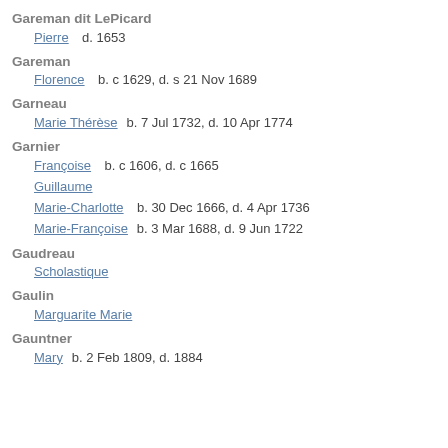Gareman dit LePicard
Pierre   d. 1653
Gareman
Florence   b. c 1629, d. s 21 Nov 1689
Garneau
Marie Thérèse   b. 7 Jul 1732, d. 10 Apr 1774
Garnier
Françoise   b. c 1606, d. c 1665
Guillaume
Marie-Charlotte   b. 30 Dec 1666, d. 4 Apr 1736
Marie-Françoise   b. 3 Mar 1688, d. 9 Jun 1722
Gaudreau
Scholastique
Gaulin
Marguarite Marie
Gauntner
Mary   b. 2 Feb 1809, d. 1884